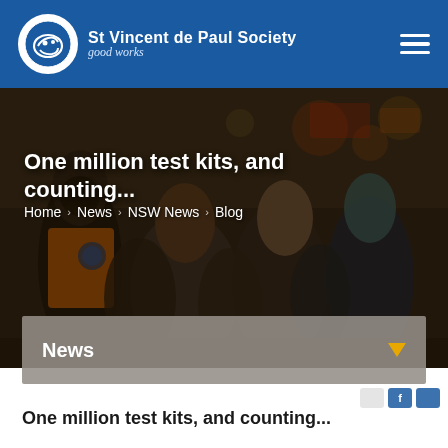St Vincent de Paul Society — good works
One million test kits, and counting...
Home > News > NSW News > Blog
News
[Figure (photo): Crowd scene with people in outdoor setting; person in orange hi-vis vest visible on left]
One million test kits, and counting...